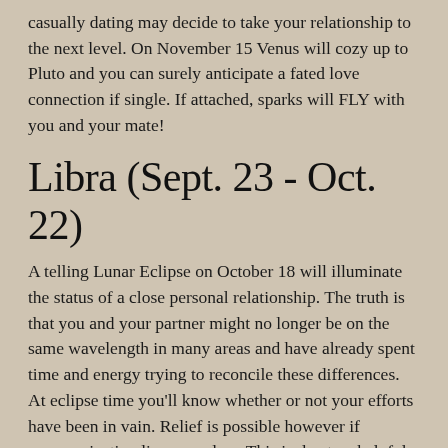casually dating may decide to take your relationship to the next level. On November 15 Venus will cozy up to Pluto and you can surely anticipate a fated love connection if single. If attached, sparks will FLY with you and your mate!
Libra (Sept. 23 - Oct. 22)
A telling Lunar Eclipse on October 18 will illuminate the status of a close personal relationship. The truth is that you and your partner might no longer be on the same wavelength in many areas and have already spent time and energy trying to reconcile these differences. At eclipse time you'll know whether or not your efforts have been in vain. Relief is possible however if communication lines are clear. This is due to a helpful trine between Venus in your 3rd House of Communication to Uranus, now in your 7th House of Partnerships. A mutual agreement about changing the paradigm of your relationship to one that's